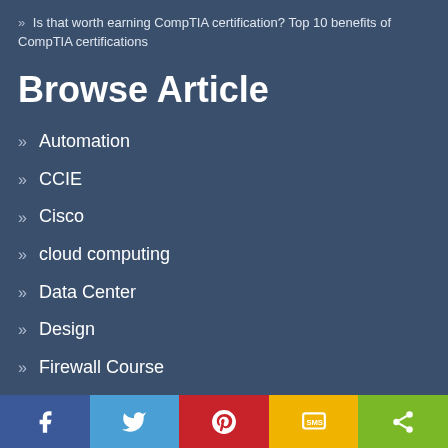» Is that worth earning CompTIA certification? Top 10 benefits of CompTIA certifications
Browse Article
» Automation
» CCIE
» Cisco
» cloud computing
» Data Center
» Design
» Firewall Course
» Load Balancer
» Networking